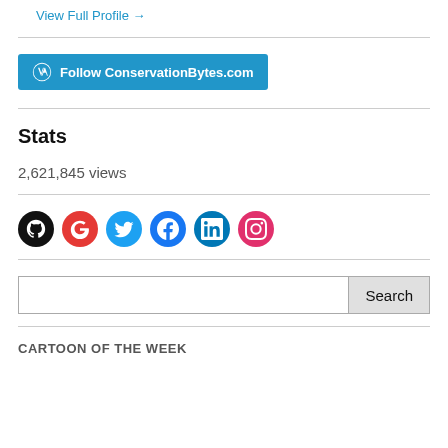View Full Profile →
Follow ConservationBytes.com
Stats
2,621,845 views
[Figure (other): Row of social media icons: GitHub (black), Google (red), Twitter (blue), Facebook (blue), LinkedIn (dark blue), Instagram (pink/magenta)]
Search
CARTOON OF THE WEEK